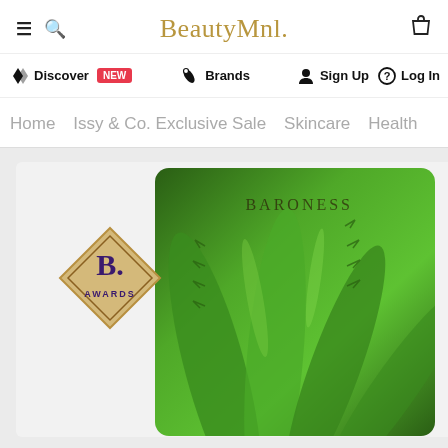BeautyMnl.
Discover NEW  Brands  Sign Up  Log In
Home  Issy & Co. Exclusive Sale  Skincare  Health
[Figure (photo): Product image of Baroness aloe vera face mask/sheet, shown with a B. Awards badge in the foreground. The product packaging features a close-up photo of aloe vera leaves in vibrant green with the brand name BARONESS in the top right corner.]